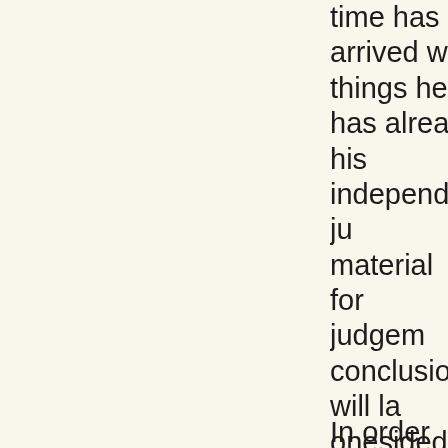time has arrived w... things he has alrea... his independent ju... material for judgem... conclusions will la... onesidedness in lif... on this basis to con...
In order to be ripe ... thought. There is n... feeling for the truth... education, there we... judgement, spoil th... Every judgement th... soul throws a stum... judgement concern... new experience as ... The thought must r... the intellect has to...